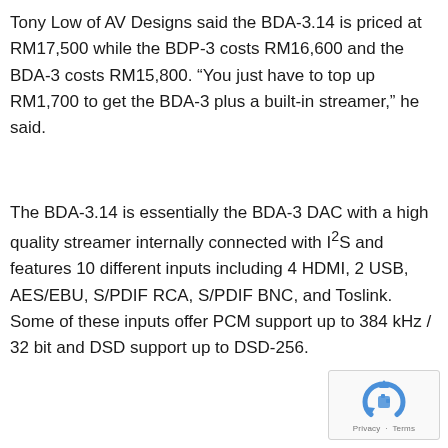Tony Low of AV Designs said the BDA-3.14 is priced at RM17,500 while the BDP-3 costs RM16,600 and the BDA-3 costs RM15,800. “You just have to top up RM1,700 to get the BDA-3 plus a built-in streamer,” he said.
The BDA-3.14 is essentially the BDA-3 DAC with a high quality streamer internally connected with I²S and features 10 different inputs including 4 HDMI, 2 USB, AES/EBU, S/PDIF RCA, S/PDIF BNC, and Toslink. Some of these inputs offer PCM support up to 384 kHz / 32 bit and DSD support up to DSD-256.
[Figure (logo): reCAPTCHA badge with privacy and terms text]